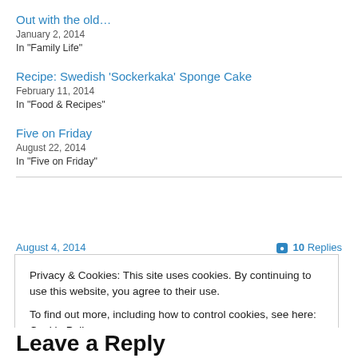Out with the old…
January 2, 2014
In "Family Life"
Recipe: Swedish 'Sockerkaka' Sponge Cake
February 11, 2014
In "Food & Recipes"
Five on Friday
August 22, 2014
In "Five on Friday"
August 4, 2014   ● 10 Replies
Privacy & Cookies: This site uses cookies. By continuing to use this website, you agree to their use. To find out more, including how to control cookies, see here: Cookie Policy
Close and accept
Leave a Reply